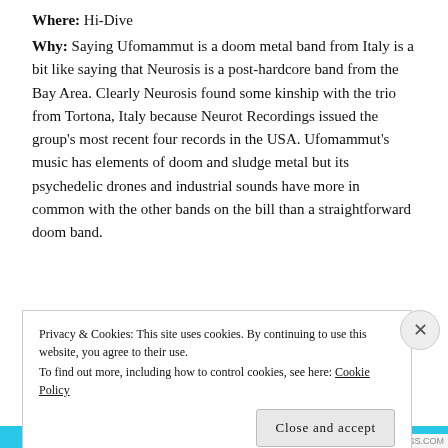Where: Hi-Dive
Why: Saying Ufomammut is a doom metal band from Italy is a bit like saying that Neurosis is a post-hardcore band from the Bay Area. Clearly Neurosis found some kinship with the trio from Tortona, Italy because Neurot Recordings issued the group's most recent four records in the USA. Ufomammut's music has elements of doom and sludge metal but its psychedelic drones and industrial sounds have more in common with the other bands on the bill than a straightforward doom band.
Privacy & Cookies: This site uses cookies. By continuing to use this website, you agree to their use. To find out more, including how to control cookies, see here: Cookie Policy
Close and accept